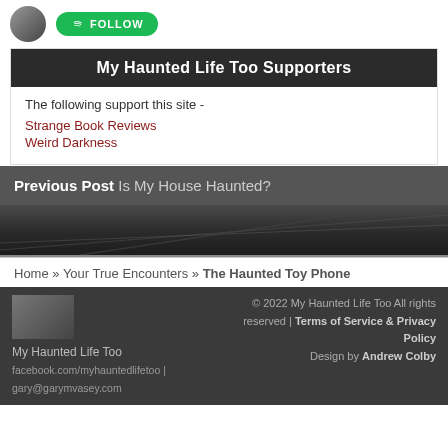[Figure (photo): Profile avatar circle and green Spotify FOLLOW button]
My Haunted Life Too Supporters
The following support this site -
Strange Book Reviews
Weird Darkness
Previous Post Is My House Haunted?
[Figure (photo): Dark image area with abstract lines]
Home » Your True Encounters » The Haunted Toy Phone
[Figure (photo): Footer logo photo thumbnail]
My Haunted Life Too
facebook.com/myhauntedlifetoo | gary@garymvasey.com
© 2022 My Haunted Life Too All rights reserved | Terms of Service & Privacy Policy
Design by Andrew Colby